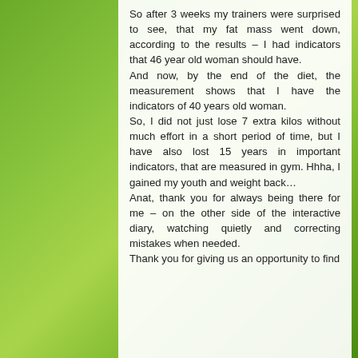So after 3 weeks my trainers were surprised to see, that my fat mass went down, according to the results – I had indicators that 46 year old woman should have.
And now, by the end of the diet, the measurement shows that I have the indicators of 40 years old woman.
So, I did not just lose 7 extra kilos without much effort in a short period of time, but I have also lost 15 years in important indicators, that are measured in gym. Hhha, I gained my youth and weight back…
Anat, thank you for always being there for me – on the other side of the interactive diary, watching quietly and correcting mistakes when needed.
Thank you for giving us an opportunity to find